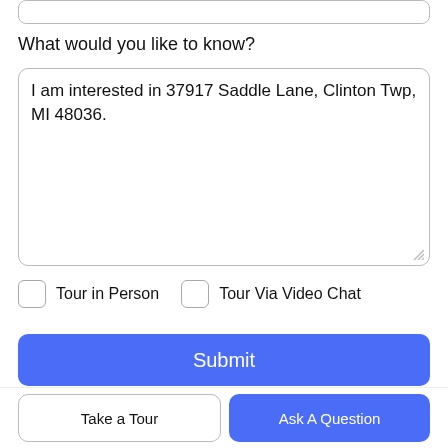What would you like to know?
I am interested in 37917 Saddle Lane, Clinton Twp, MI 48036.
Tour in Person
Tour Via Video Chat
Submit
Disclaimer: By entering your information and submitting this form, you agree to our Terms of Use and Privacy Policy and that you may be contacted by phone, text message and email about your inquiry.
Take a Tour
Ask A Question